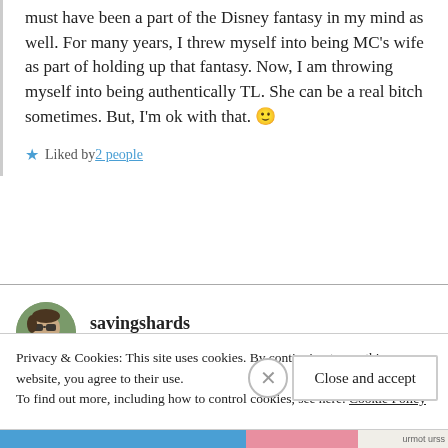must have been a part of the Disney fantasy in my mind as well. For many years, I threw myself into being MC's wife as part of holding up that fantasy. Now, I am throwing myself into being authentically TL. She can be a real bitch sometimes. But, I'm ok with that. 🙂
★ Liked by 2 people
savingshards
April 15, 2016 at 7:49 pm
Privacy & Cookies: This site uses cookies. By continuing to use this website, you agree to their use.
To find out more, including how to control cookies, see here: Cookie Policy
Close and accept